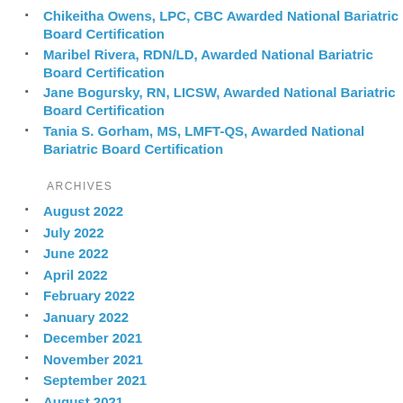Chikeitha Owens, LPC, CBC Awarded National Bariatric Board Certification
Maribel Rivera, RDN/LD, Awarded National Bariatric Board Certification
Jane Bogursky, RN, LICSW, Awarded National Bariatric Board Certification
Tania S. Gorham, MS, LMFT-QS, Awarded National Bariatric Board Certification
ARCHIVES
August 2022
July 2022
June 2022
April 2022
February 2022
January 2022
December 2021
November 2021
September 2021
August 2021
July 2021